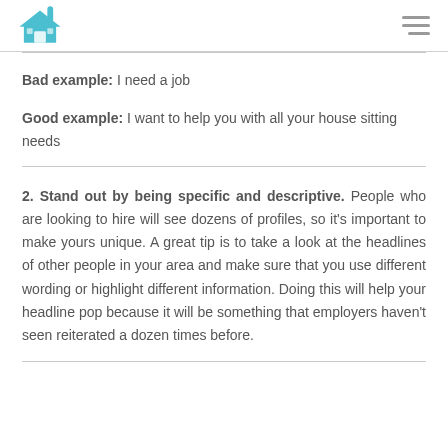[logo] [hamburger menu]
Bad example: I need a job
Good example: I want to help you with all your house sitting needs
2. Stand out by being specific and descriptive. People who are looking to hire will see dozens of profiles, so it’s important to make yours unique. A great tip is to take a look at the headlines of other people in your area and make sure that you use different wording or highlight different information. Doing this will help your headline pop because it will be something that employers haven’t seen reiterated a dozen times before.